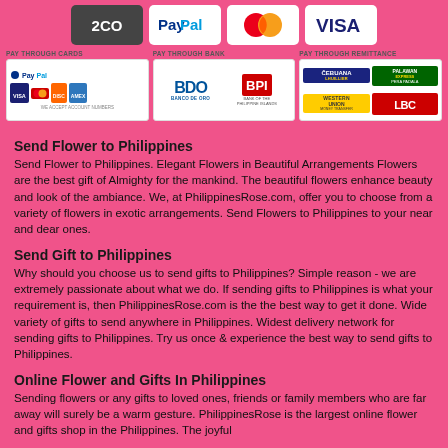[Figure (logo): Top row of payment logos: 2CO, PayPal, MasterCard, VISA]
[Figure (logo): Payment method sections: Pay Through Cards (PayPal, VISA, MasterCard, Discover, Amex), Pay Through Bank (BDO Banco de Oro, BPI Bank of the Philippine Islands), Pay Through Remittance (Cebuana Lhuillier, Palawan Express Pera Padala, Western Union, LBC)]
Send Flower to Philippines
Send Flower to Philippines. Elegant Flowers in Beautiful Arrangements Flowers are the best gift of Almighty for the mankind. The beautiful flowers enhance beauty and look of the ambiance. We, at PhilippinesRose.com, offer you to choose from a variety of flowers in exotic arrangements. Send Flowers to Philippines to your near and dear ones.
Send Gift to Philippines
Why should you choose us to send gifts to Philippines? Simple reason - we are extremely passionate about what we do. If sending gifts to Philippines is what your requirement is, then PhilippinesRose.com is the the best way to get it done. Wide variety of gifts to send anywhere in Philippines. Widest delivery network for sending gifts to Philippines. Try us once & experience the best way to send gifts to Philippines.
Online Flower and Gifts In Philippines
Sending flowers or any gifts to loved ones, friends or family members who are far away will surely be a warm gesture. PhilippinesRose is the largest online flower and gifts shop in the Philippines. The joyful